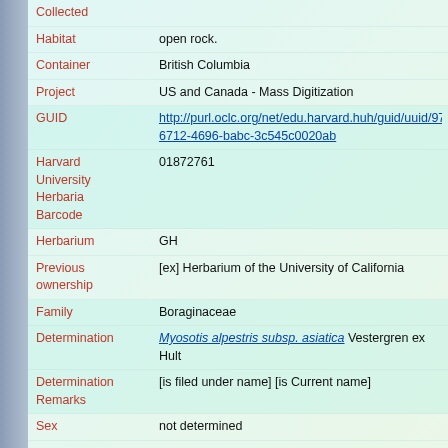| Field | Value |
| --- | --- |
| Collected |  |
| Habitat | open rock. |
| Container | British Columbia |
| Project | US and Canada - Mass Digitization |
| GUID | http://purl.oclc.org/net/edu.harvard.huh/guid/uuid/97a6712-4696-babc-3c545c0020ab |
| Harvard University Herbaria Barcode | 01872761 |
| Herbarium | GH |
| Previous ownership | [ex] Herbarium of the University of California |
| Family | Boraginaceae |
| Determination | Myosotis alpestris subsp. asiatica Vestergren ex Hult |
| Determination Remarks | [is filed under name] [is Current name] |
| Sex | not determined |
| Phenology | NotDetermined |
| Preparation Type | Sheet |
| Preparation Method | Pressed |